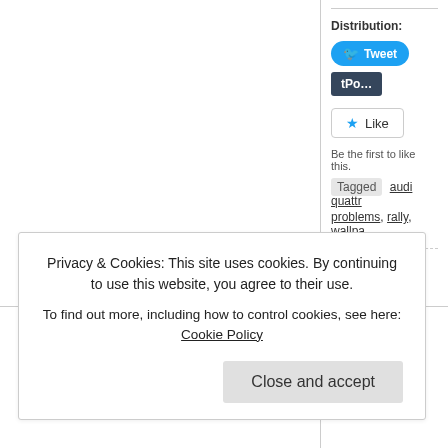Distribution:
[Figure (screenshot): Tweet button (blue rounded) and Tumblr Post button (dark)]
[Figure (screenshot): Like button with star icon]
Be the first to like this.
Tagged  audi quattro  problems, rally, wallpa...
Privacy & Cookies: This site uses cookies. By continuing to use this website, you agree to their use.
To find out more, including how to control cookies, see here: Cookie Policy
Close and accept